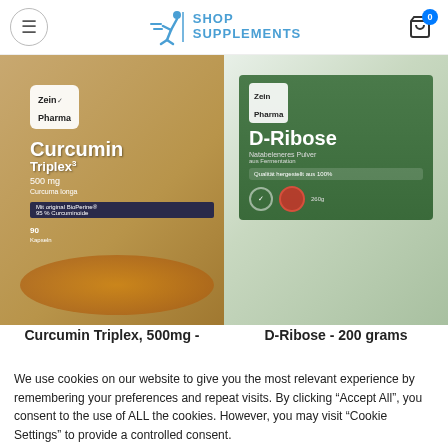Shop Supplements - Navigation header with logo and cart
[Figure (photo): Zein Pharma Curcumin Triplex 500mg product bottle with turmeric root]
[Figure (photo): Zein Pharma D-Ribose 200 grams powder container]
Curcumin Triplex, 500mg -
D-Ribose - 200 grams
We use cookies on our website to give you the most relevant experience by remembering your preferences and repeat visits. By clicking "Accept All", you consent to the use of ALL the cookies. However, you may visit "Cookie Settings" to provide a controlled consent.